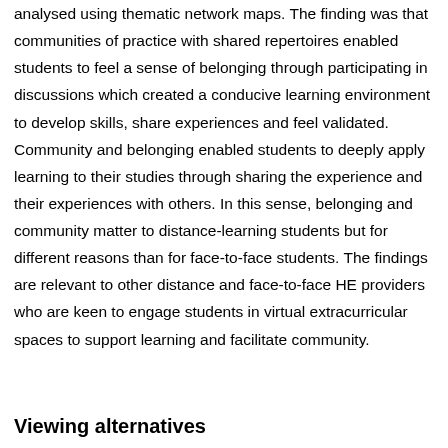analysed using thematic network maps. The finding was that communities of practice with shared repertoires enabled students to feel a sense of belonging through participating in discussions which created a conducive learning environment to develop skills, share experiences and feel validated. Community and belonging enabled students to deeply apply learning to their studies through sharing the experience and their experiences with others. In this sense, belonging and community matter to distance-learning students but for different reasons than for face-to-face students. The findings are relevant to other distance and face-to-face HE providers who are keen to engage students in virtual extracurricular spaces to support learning and facilitate community.
Viewing alternatives